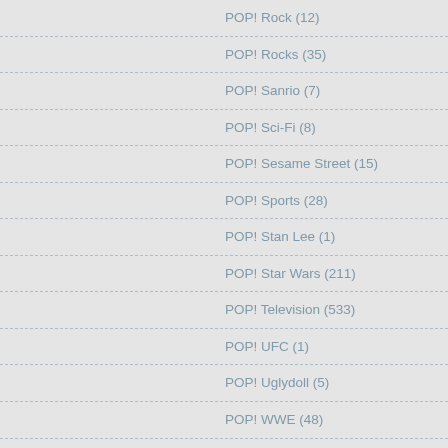POP! Rock (12)
POP! Rocks (35)
POP! Sanrio (7)
POP! Sci-Fi (8)
POP! Sesame Street (15)
POP! Sports (28)
POP! Stan Lee (1)
POP! Star Wars (211)
POP! Television (533)
POP! UFC (1)
POP! Uglydoll (5)
POP! WWE (48)
ReAction Action Figures (124)
Uncategorized (445)
Vinyl 3 (Vinyl Cubed) (4)